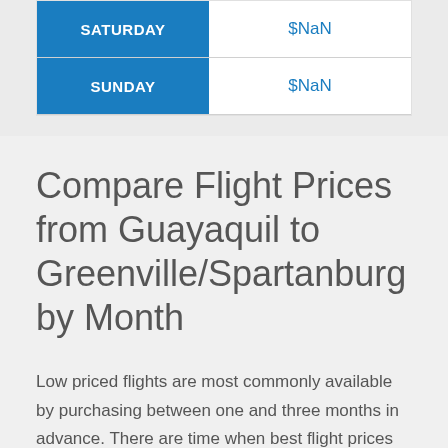| Day | Price |
| --- | --- |
| SATURDAY | $NaN |
| SUNDAY | $NaN |
Compare Flight Prices from Guayaquil to Greenville/Spartanburg by Month
Low priced flights are most commonly available by purchasing between one and three months in advance. There are time when best flight prices are accessible...